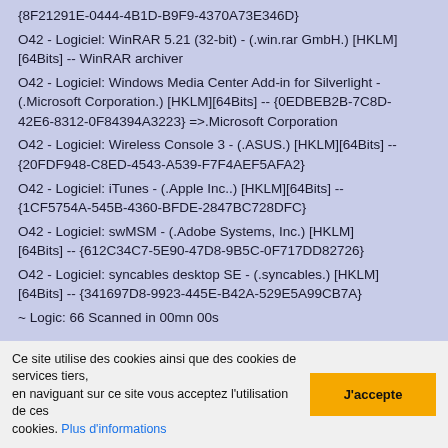{8F21291E-0444-4B1D-B9F9-4370A73E346D}
O42 - Logiciel: WinRAR 5.21 (32-bit) - (.win.rar GmbH.) [HKLM][64Bits] -- WinRAR archiver
O42 - Logiciel: Windows Media Center Add-in for Silverlight - (.Microsoft Corporation.) [HKLM][64Bits] -- {0EDBEB2B-7C8D-42E6-8312-0F84394A3223} =>.Microsoft Corporation
O42 - Logiciel: Wireless Console 3 - (.ASUS.) [HKLM][64Bits] -- {20FDF948-C8ED-4543-A539-F7F4AEF5AFA2}
O42 - Logiciel: iTunes - (.Apple Inc..) [HKLM][64Bits] -- {1CF5754A-545B-4360-BFDE-2847BC728DFC}
O42 - Logiciel: swMSM - (.Adobe Systems, Inc.) [HKLM][64Bits] -- {612C34C7-5E90-47D8-9B5C-0F717DD82726}
O42 - Logiciel: syncables desktop SE - (.syncables.) [HKLM][64Bits] -- {341697D8-9923-445E-B42A-529E5A99CB7A}
~ Logic: 66 Scanned in 00mn 00s
---\\ HKCU & HKLM Software Keys
[...